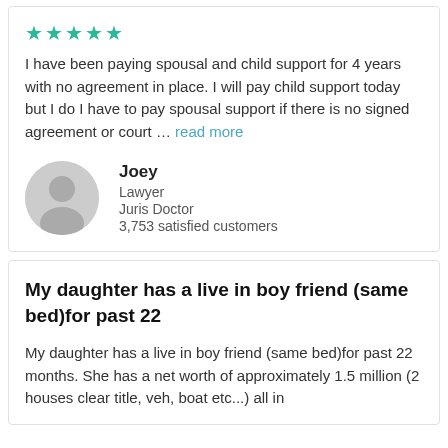[Figure (other): Five teal/green star rating icons]
I have been paying spousal and child support for 4 years with no agreement in place. I will pay child support today but I do I have to pay spousal support if there is no signed agreement or court … read more
[Figure (photo): Circular avatar placeholder with silhouette of a person, grey background]
Joey
Lawyer
Juris Doctor
3,753 satisfied customers
My daughter has a live in boy friend (same bed)for past 22
My daughter has a live in boy friend (same bed)for past 22 months. She has a net worth of approximately 1.5 million (2 houses clear title, veh, boat etc...) all in